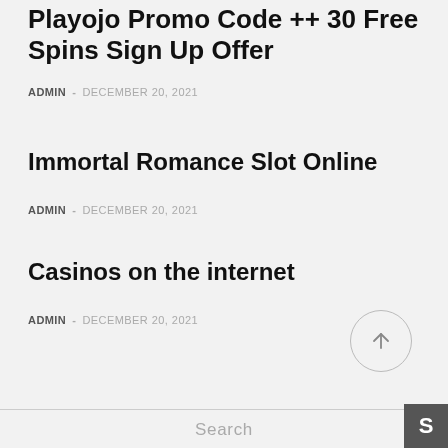Playojo Promo Code ++ 30 Free Spins Sign Up Offer
ADMIN - DECEMBER 20, 2021
Immortal Romance Slot Online
ADMIN - DECEMBER 20, 2021
Casinos on the internet
ADMIN - DECEMBER 20, 2021
[Figure (other): Circular up-arrow scroll-to-top button]
Search